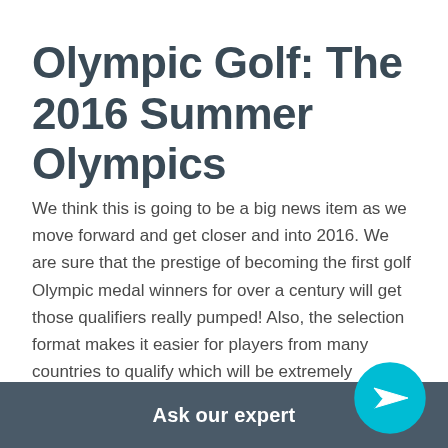Olympic Golf: The 2016 Summer Olympics
We think this is going to be a big news item as we move forward and get closer and into 2016. We are sure that the prestige of becoming the first golf Olympic medal winners for over a century will get those qualifiers really pumped! Also, the selection format makes it easier for players from many countries to qualify which will be extremely interesting.
Golf at the 2016 Summer Olympics in Rio de Ja...
Ask our expert